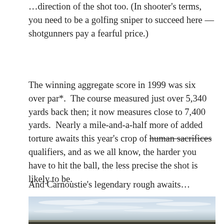…direction of the shot too. (In shooter's terms, you need to be a golfing sniper to succeed here — shotgunners pay a fearful price.)
The winning aggregate score in 1999 was six over par*. The course measured just over 5,340 yards back then; it now measures close to 7,400 yards. Nearly a mile-and-a-half more of added torture awaits this year's crop of human sacrifices qualifiers, and as we all know, the harder you have to hit the ball, the less precise the shot is likely to be.
And Carnoustie's legendary rough awaits…
[Figure (photo): Landscape photograph showing a wide open sky with wispy clouds over a flat golf course or links landscape near Carnoustie.]